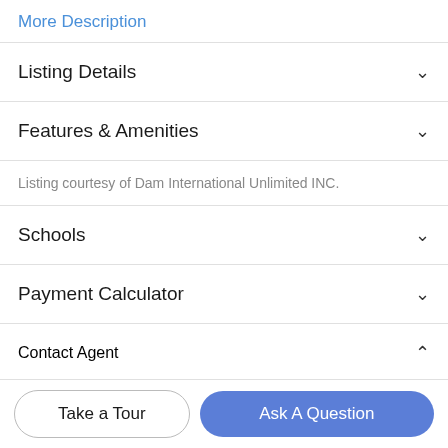More Description
Listing Details
Features & Amenities
Listing courtesy of Dam International Unlimited INC.
Schools
Payment Calculator
Contact Agent
Take a Tour
Ask A Question